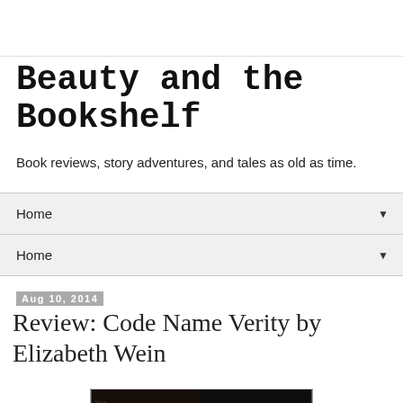Beauty and the Bookshelf
Book reviews, story adventures, and tales as old as time.
Home ▼
Home ▼
Aug 10, 2014
Review: Code Name Verity by Elizabeth Wein
[Figure (photo): Book cover of Code Name Verity showing a dark background with a hand and text overlay including a quote and the title 'code name' at the bottom]